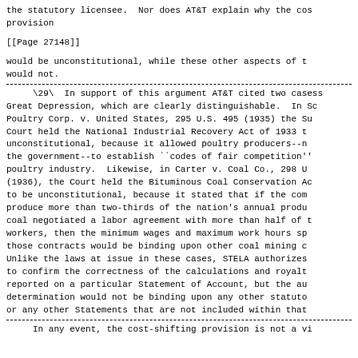the statutory licensee. Nor does AT&T explain why the cost-shifting provision
[[Page 27148]]
would be unconstitutional, while these other aspects of the provision would not.
\29\ In support of this argument AT&T cited two cases from the Great Depression, which are clearly distinguishable. In Schechter Poultry Corp. v. United States, 295 U.S. 495 (1935) the Supreme Court held the National Industrial Recovery Act of 1933 to be unconstitutional, because it allowed poultry producers--not the government--to establish ``codes of fair competition'' for the poultry industry. Likewise, in Carter v. Coal Co., 298 U.S. 238 (1936), the Court held the Bituminous Coal Conservation Act to be unconstitutional, because it stated that if the companies that produce more than two-thirds of the nation's annual production of coal negotiated a labor agreement with more than half of the coal workers, then the minimum wages and maximum work hours specified in those contracts would be binding upon other coal mining companies. Unlike the laws at issue in these cases, STELA authorizes an audit to confirm the correctness of the calculations and royalties reported on a particular Statement of Account, but the audit determination would not be binding upon any other statutory licensee or any other Statements that are not included within that audit.
In any event, the cost-shifting provision is not a violation